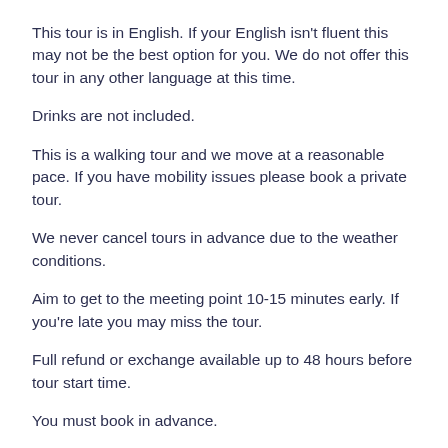This tour is in English. If your English isn't fluent this may not be the best option for you. We do not offer this tour in any other language at this time.
Drinks are not included.
This is a walking tour and we move at a reasonable pace. If you have mobility issues please book a private tour.
We never cancel tours in advance due to the weather conditions.
Aim to get to the meeting point 10-15 minutes early. If you're late you may miss the tour.
Full refund or exchange available up to 48 hours before tour start time.
You must book in advance.
IMPORTANT NOTE
After making a booking you'll receive an automatic confirmation email (separate from the receipt). If you don't see the email in